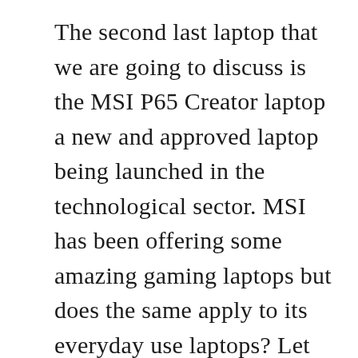The second last laptop that we are going to discuss is the MSI P65 Creator laptop a new and approved laptop being launched in the technological sector. MSI has been offering some amazing gaming laptops but does the same apply to its everyday use laptops? Let us find out.

This MSI laptop has a display of 15.6 inches UHD with dimensions 3840*2160 which is great as the more wide the screen is the more clarity and space you get to get your work done. This laptop